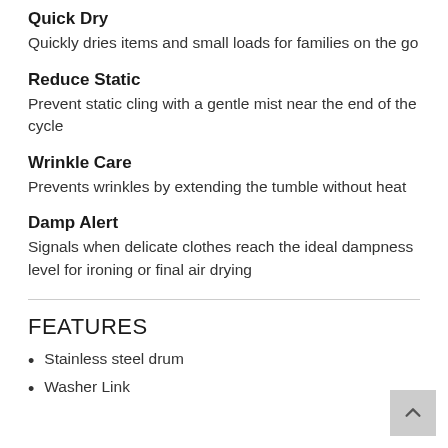Quick Dry
Quickly dries items and small loads for families on the go
Reduce Static
Prevent static cling with a gentle mist near the end of the cycle
Wrinkle Care
Prevents wrinkles by extending the tumble without heat
Damp Alert
Signals when delicate clothes reach the ideal dampness level for ironing or final air drying
FEATURES
Stainless steel drum
Washer Link